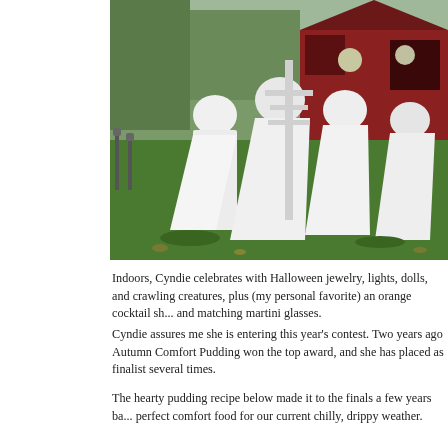[Figure (photo): Outdoor Halloween decoration scene showing ghost figures made from white sheets draped over forms standing on a green lawn, with a red barn and additional spooky decorations including skulls and skeletons in the background.]
Indoors, Cyndie celebrates with Halloween jewelry, lights, dolls, and crawling creatures, plus (my personal favorite) an orange cocktail sh... and matching martini glasses.
Cyndie assures me she is entering this year's contest. Two years ago Autumn Comfort Pudding won the top award, and she has placed as finalist several times.
The hearty pudding recipe below made it to the finals a few years ba... perfect comfort food for our current chilly, drippy weather.